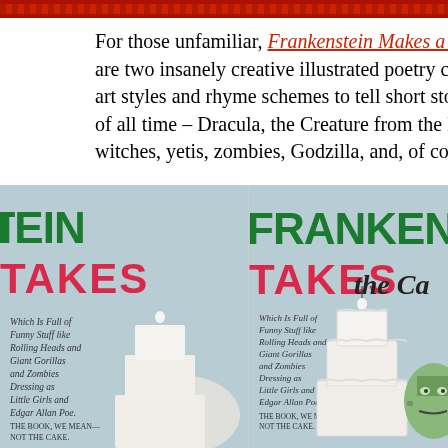[Figure (photo): Top strip: decorative red and dark patterned banner/header image across full width]
For those unfamiliar, Frankenstein Makes a Sandwich and Franke are two insanely creative illustrated poetry collections that utilize a art styles and rhyme schemes to tell short stories about some of th of all time – Dracula, the Creature from the Black Lagoon, the Wo witches, yetis, zombies, Godzilla, and, of course, the titular Franke
[Figure (photo): Book cover of 'Frankenstein Takes the Cake' showing large green and red hand-lettered title text, a white tiered wedding cake with bride topper, and Frankenstein's green monster face partially visible on the right, with handwritten subtitle text listing funny stuff, rolling heads, giant gorillas, zombies dressing as little girls, and Edgar Allan Poe.]